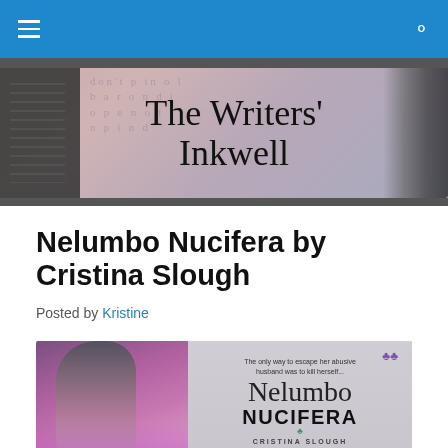Navigation bar with hamburger menu and search icon
[Figure (illustration): The Writers' Inkwell website banner showing a notebook, handwritten script logo text, scattered letters, and a pen]
Nelumbo Nucifera by Cristina Slough
Posted by Kristine
[Figure (photo): Book cover for Nelumbo Nucifera by Cristina Slough, showing a woman with dark hair in purple, tagline 'The only way to escape her abusive husband was to kill herself...', with cursive and bold title text and purple butterflies]